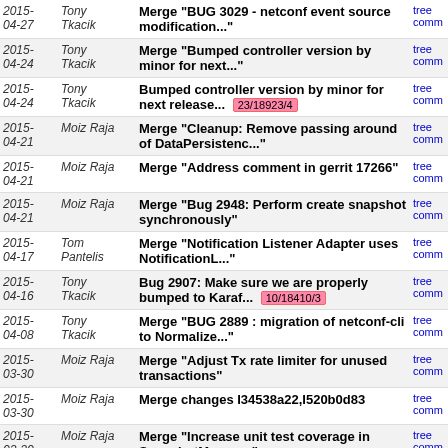| Date | Author | Message | Links |
| --- | --- | --- | --- |
| 2015-04-27 | Tony Tkacik | Merge "BUG 3029 - netconf event source modification..." | tree | comm |
| 2015-04-24 | Tony Tkacik | Merge "Bumped controller version by minor for next..." | tree | comm |
| 2015-04-24 | Tony Tkacik | Bumped controller version by minor for next release... 23/18923/4 | tree | comm |
| 2015-04-21 | Moiz Raja | Merge "Cleanup: Remove passing around of DataPersistenc..." | tree | comm |
| 2015-04-21 | Moiz Raja | Merge "Address comment in gerrit 17266" | tree | comm |
| 2015-04-21 | Moiz Raja | Merge "Bug 2948: Perform create snapshot synchronously" | tree | comm |
| 2015-04-17 | Tom Pantelis | Merge "Notification Listener Adapter uses NotificationL..." | tree | comm |
| 2015-04-16 | Tony Tkacik | Bug 2907: Make sure we are properly bumped to Karaf... 10/18410/3 | tree | comm |
| 2015-04-08 | Tony Tkacik | Merge "BUG 2889 : migration of netconf-cli to Normalize..." | tree | comm |
| 2015-03-30 | Moiz Raja | Merge "Adjust Tx rate limiter for unused transactions" | tree | comm |
| 2015-03-30 | Moiz Raja | Merge changes I34538a22,I520b0d83 | tree | comm |
| 2015-03-30 | Moiz Raja | Merge "Increase unit test coverage in SnapshotManager" | tree | comm |
| 2015-03-30 | Tony Tkacik | Merge "BUG 2743 - Added support for runtime RPC's to..." | tree | comm |